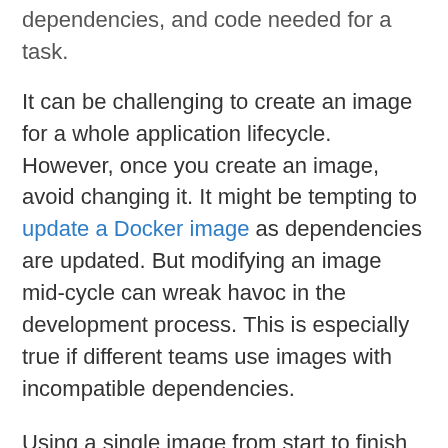dependencies, and code needed for a task.
It can be challenging to create an image for a whole application lifecycle. However, once you create an image, avoid changing it. It might be tempting to update a Docker image as dependencies are updated. But modifying an image mid-cycle can wreak havoc in the development process. This is especially true if different teams use images with incompatible dependencies.
Using a single image from start to finish makes troubleshooting easier.
All teams will be working with the same base environment, spending less time bringing different sections of code together. Also, a single update can be completed and tested across multiple containers. It reduces the duplicated work of individual updates